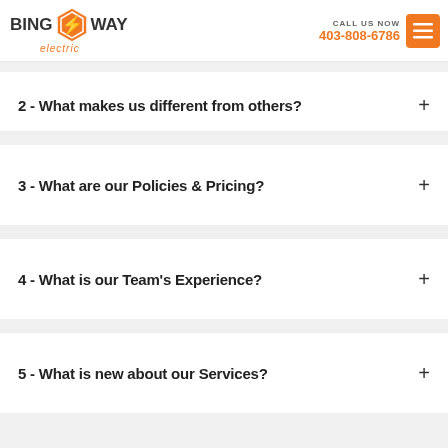BING WAY electric | CALL US NOW 403-808-6786
2 - What makes us different from others?
3 - What are our Policies & Pricing?
4 - What is our Team's Experience?
5 - What is new about our Services?